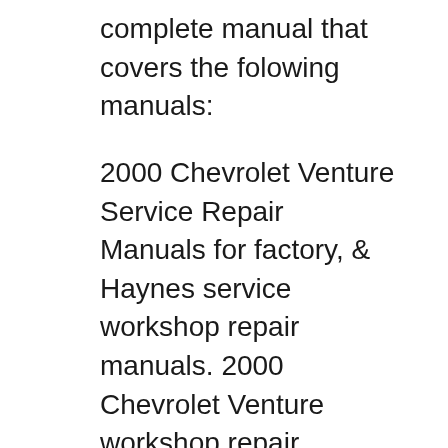complete manual that covers the folowing manuals:
2000 Chevrolet Venture Service Repair Manuals for factory, & Haynes service workshop repair manuals. 2000 Chevrolet Venture workshop repair manual PDF Download your free PDF file of the 2000 chevrolet venture on our comprehensive online database of automotive owners manuals
INSTANT 2000-2006 SERVICE REPAIR. MANUAL CHEVY CHEVROLET VENTURE. 2000 Chevrolet Venture Repair Manual Pdf >>>CLICK HERE<<< auto repair manual torrent will surely have plenty 1000s of different products represented